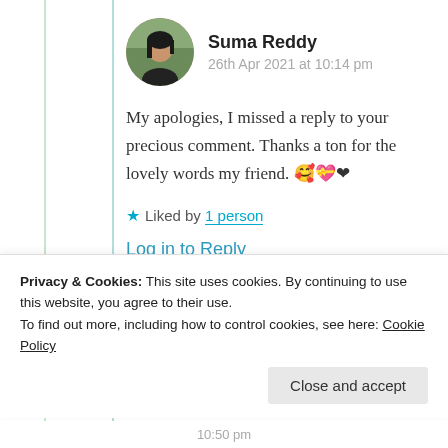[Figure (photo): Circular avatar photo of Suma Reddy, a woman with dark hair against an outdoor background]
Suma Reddy
26th Apr 2021 at 10:14 pm
My apologies, I missed a reply to your precious comment. Thanks a ton for the lovely words my friend. 🥰💝❤
★ Liked by 1 person
Log in to Reply
Privacy & Cookies: This site uses cookies. By continuing to use this website, you agree to their use.
To find out more, including how to control cookies, see here: Cookie Policy
Close and accept
10:50 pm